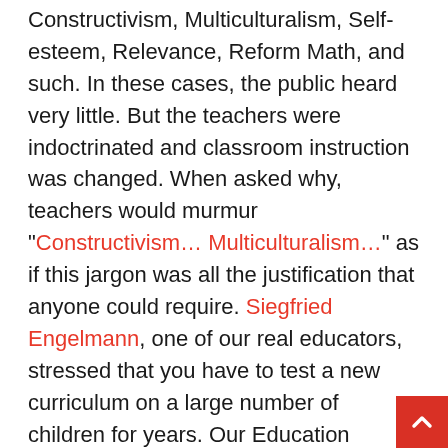Constructivism, Multiculturalism, Self-esteem, Relevance, Reform Math, and such. In these cases, the public heard very little. But the teachers were indoctrinated and classroom instruction was changed. When asked why, teachers would murmur "Constructivism… Multiculturalism…" as if this jargon was all the justification that anyone could require. Siegfried Engelmann, one of our real educators, stressed that you have to test a new curriculum on a large number of children for years. Our Education Establishment does not believe in practicing what lawyers call "due diligence." Here is the big picture. Our Education Establishment is almost always pushing shoddy goods. For that alone, these people should not be trusted with another dollar. But there is a second part of this equation, and that is the contempt shown for parents and children. Millions of children are stunted from the first day of school onward. They can't read. They can't do basic arithmetic. They know very little factual information. Even our "experts" stunt children, they brag about the wonderful